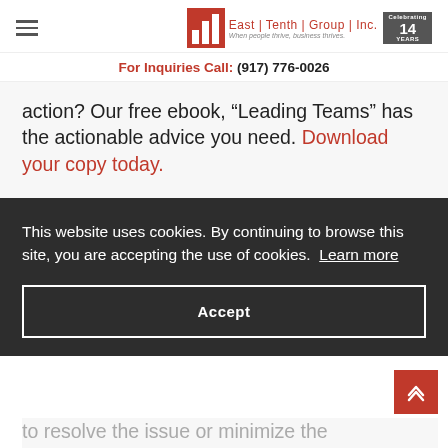East Tenth Group Inc. | When people thrive, business thrives. | For Inquiries Call: (917) 776-0026
action? Our free ebook, “Leading Teams” has the actionable advice you need. Download your copy today.
Have Monthly “Successes &
This website uses cookies. By continuing to browse this site, you are accepting the use of cookies. Learn more
Accept
to resolve the issue or minimize the